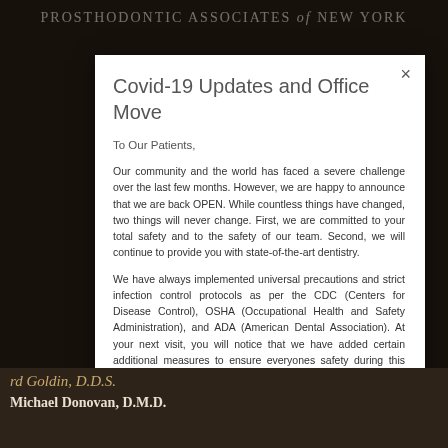PROSTHODONTIC ASSOCIATES of NEW YORK
Covid-19 Updates and Office Move
To Our Patients,
Our community and the world has faced a severe challenge over the last few months. However, we are happy to announce that we are back OPEN. While countless things have changed, two things will never change. First, we are committed to your total safety and to the safety of our team. Second, we will continue to provide you with state-of-the-art dentistry.
We have always implemented universal precautions and strict infection control protocols as per the CDC (Centers for Disease Control), OSHA (Occupational Health and Safety Administration), and ADA (American Dental Association). At your next visit, you will notice that we have added certain additional measures to ensure everyones safety during this Covid-19 outbreak. For specific details, CLICK HERE.
We are now officially located at our new state of the art dental office one block away at 370 Lexington Ave, 26th floor (SW Corner of 41st and Lex). This office is outfitted with the most current safety features available today with Covid-19 in mind. For specific details, CLICK HERE.
Safety and first class dentistry have always been our guiding...